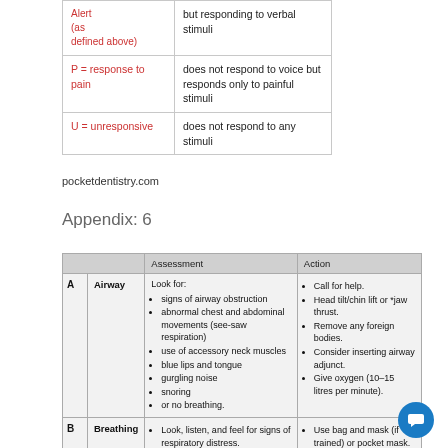| Label | Description |
| --- | --- |
| P = response to pain | does not respond to voice but responds only to painful stimuli |
| U = unresponsive | does not respond to any stimuli |
pocketdentistry.com
Appendix: 6
|  |  | Assessment | Action |
| --- | --- | --- | --- |
| A | Airway | Look for:
• signs of airway obstruction
• abnormal chest and abdominal movements (see-saw respiration)
• use of accessory neck muscles
• blue lips and tongue
• gurgling noise
• snoring
• or no breathing. | • Call for help.
• Head tilt/chin lift or *jaw thrust.
• Remove any foreign bodies.
• Consider inserting airway adjunct.
• Give oxygen (10–15 litres per minute). |
| B | Breathing | • Look, listen, and feel for signs of respiratory distress.
• Count the respiratory rate (normally 10–15 breaths per minute in adults and up to 20–30 in children).
• Check for bilateral chest expansion and tracheal deviation.
• Undertake *auscultation and *percussion of the chest if trained. | • Use bag and mask (if trained) or pocket mask.
• Ventilate with supplemental oxygen.
• Attach a *pulse oximeter to measure oxygen saturation if available. |